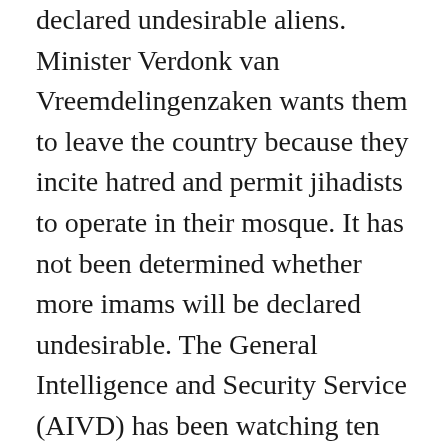declared undesirable aliens. Minister Verdonk van Vreemdelingenzaken wants them to leave the country because they incite hatred and permit jihadists to operate in their mosque. It has not been determined whether more imams will be declared undesirable. The General Intelligence and Security Service (AIVD) has been watching ten radical mosques. Just like in the Al-Fourkaan mosque the ideology of Salafism is promoted, a strict movement in Islam that fights against Western society. Verdonk decided yesterday after consultation with minister Remkes (home affairs) to withdraw the residence permits of the two imams. They have rejected the application for lengthening of the permit of a third imam. The imams will be declared undesirable aliens.